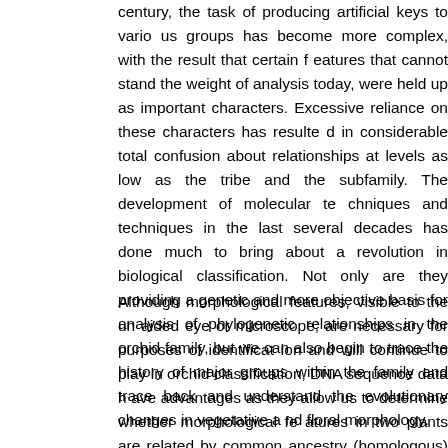century, the task of producing artificial keys to various groups has become more complex, with the result that certain features, that cannot stand the weight of analysis today, were held up as important characters. Excessive reliance on these characters has resulted in considerable total confusion about relationships at levels as low as the tribe and the subfamily. The development of molecular techniques and techniques in the last several decades has done much to bring about a revolution in biological classification. Not only are they providing a genetic and more objective basis for analysis of phylogenetic relationships in the orchid family, but we can also begin to trace the history of major groups within the family and trace back and understand the evolutionary changes in vegetative and floral morphology.
Although morphological features, visible to the unaided eye or microscope, are necessary for purposes of identification and will continue to play in orchid classification, DNA sequence data have advantages as they allow us to determine whether morphological features in two plants are related by common ancestry (homologous) or if they are convergent. In other words, they show us, which morphological characters are indicators of relationship and which are merely convergences due to similar selection pressures (pollinators, epiphytism, etc.).